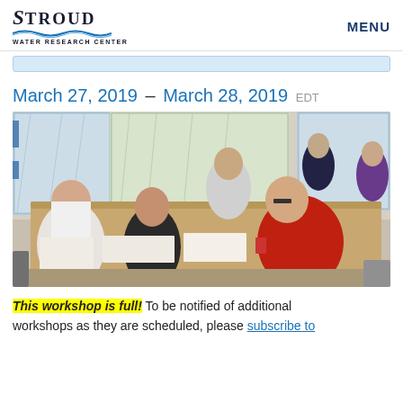Stroud Water Research Center | MENU
March 27, 2019 – March 28, 2019 EDT
[Figure (photo): Workshop participants seated around a long table, working on maps and documents spread across the table, with large maps posted on the wall behind them.]
This workshop is full! To be notified of additional workshops as they are scheduled, please subscribe to